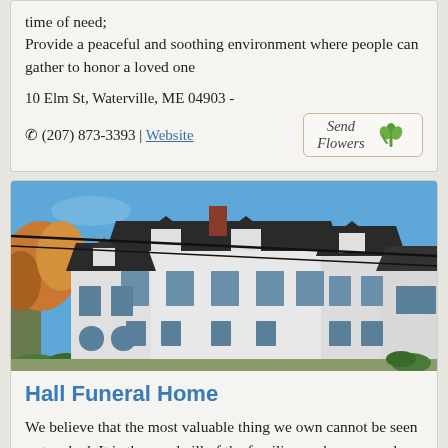time of need;
Provide a peaceful and soothing environment where people can gather to honor a loved one
10 Elm St, Waterville, ME 04903 -
☎ (207) 873-3393 | Website
[Figure (photo): Exterior photo of a large white Victorian-style funeral home building with dark roof dormers against a blue sky, with autumn trees visible on the left side and power lines crossing overhead]
Hall Funeral Home
We believe that the most valuable thing we own cannot be seen or touched. It is the goodwill of the families we have served and the people who